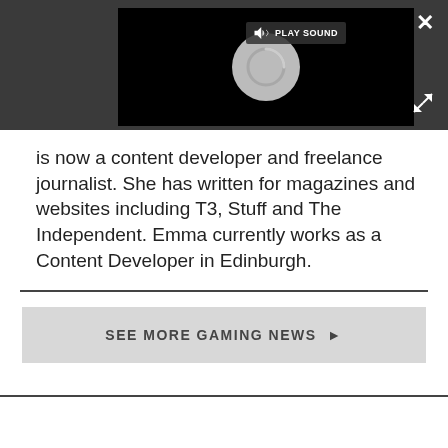[Figure (screenshot): Video player embedded in a dark gray bar, showing a loading spinner (circular gray icon) on black background, with a 'PLAY SOUND' button overlay in the top-left of the video. A white X close button appears top-right of the bar, and an expand icon bottom-right.]
is now a content developer and freelance journalist. She has written for magazines and websites including T3, Stuff and The Independent. Emma currently works as a Content Developer in Edinburgh.
SEE MORE GAMING NEWS ▶